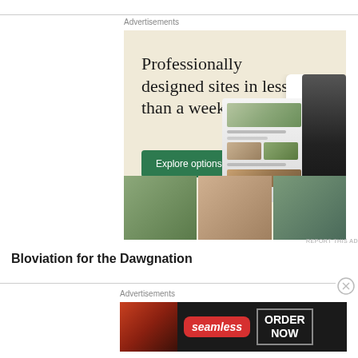Advertisements
[Figure (illustration): WordPress.com advertisement with beige/cream background showing text 'Professionally designed sites in less than a week', a green 'Explore options' button, WordPress logo, and screenshots of website designs]
REPORT THIS AD
Bloviation for the Dawgnation
Advertisements
[Figure (illustration): Seamless food delivery advertisement with dark background showing pizza, Seamless logo, and 'ORDER NOW' button]